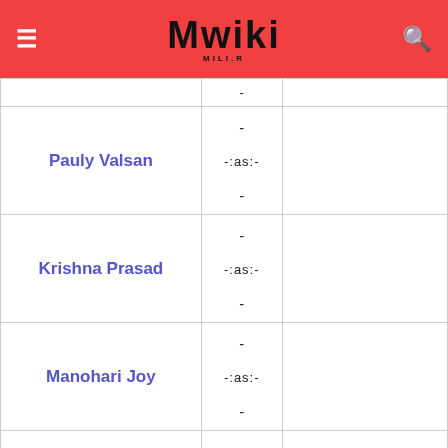Mwiki
| Name |  |  |
| --- | --- | --- |
| Pauly Valsan | -
-:as:-
- |  |
| Krishna Prasad | -
-:as:-
- |  |
| Manohari Joy | -
-:as:-
- |  |
| Jordi Poonjar | -
-:as:- |  |